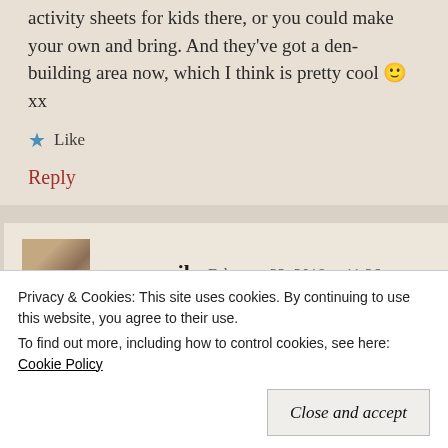activity sheets for kids there, or you could make your own and bring. And they've got a den-building area now, which I think is pretty cool 🙂 xx
★ Like
Reply
rawsonjl   February 22, 2018 at 11:26 pm
That looks like a lovely area to explore. I love the
Privacy & Cookies: This site uses cookies. By continuing to use this website, you agree to their use.
To find out more, including how to control cookies, see here: Cookie Policy
Close and accept